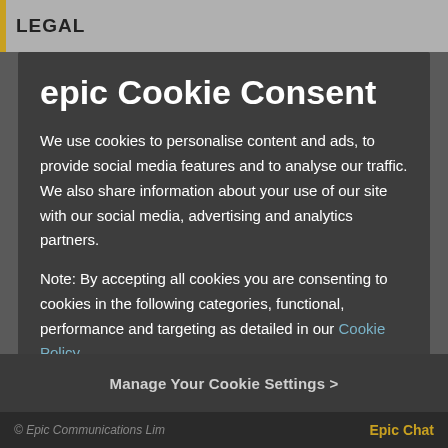LEGAL
epic Cookie Consent
We use cookies to personalise content and ads, to provide social media features and to analyse our traffic. We also share information about your use of our site with our social media, advertising and analytics partners.
Note: By accepting all cookies you are consenting to cookies in the following categories, functional, performance and targeting as detailed in our Cookie Policy.
Accept All Cookies
Manage Your Cookie Settings >
© Epic Communications Lim  Epic Chat